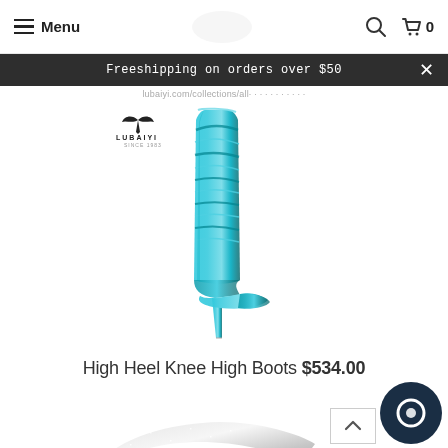Menu | (search icon) | (cart) 0
Freeshipping on orders over $50
[Figure (photo): Lubaiyi brand metallic turquoise/teal knee-high stiletto boots with ruched/scrunch shaft detail on white background]
High Heel Knee High Boots $534.00
[Figure (photo): Silver glitter pointed-toe stiletto pump/heel shoe on white background, partially shown]
[Figure (other): Dark navy chat/support button and back-to-top arrow icon in bottom right corner]